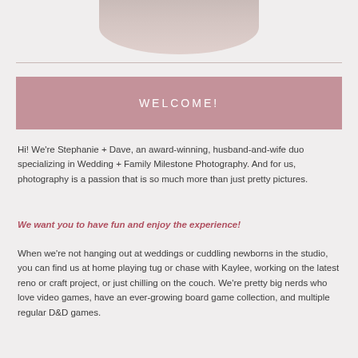[Figure (photo): Partial photo of a person at the top of the page, cropped to show only the lower portion]
WELCOME!
Hi! We're Stephanie + Dave, an award-winning, husband-and-wife duo specializing in Wedding + Family Milestone Photography. And for us, photography is a passion that is so much more than just pretty pictures.
We want you to have fun and enjoy the experience!
When we're not hanging out at weddings or cuddling newborns in the studio, you can find us at home playing tug or chase with Kaylee, working on the latest reno or craft project, or just chilling on the couch. We're pretty big nerds who love video games, have an ever-growing board game collection, and multiple regular D&D games.